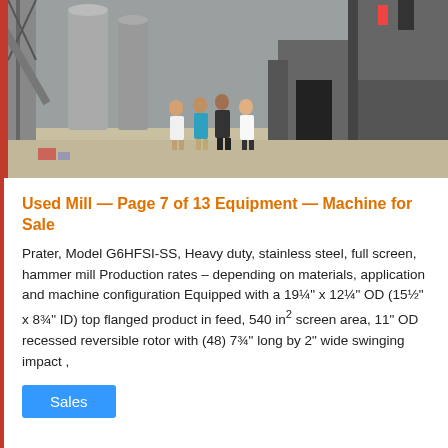[Figure (photo): Industrial facility photo showing four people standing in front of large metal machinery and silos/tanks in an outdoor industrial setting.]
Used Mill — Page 7 of 13 Equipment — Machine for Sale
Prater, Model G6HFSI-SS, Heavy duty, stainless steel, full screen, hammer mill Production rates – depending on materials, application and machine configuration Equipped with a 19¼" x 12¼" OD (15½" x 8¾" ID) top flanged product in feed, 540 in² screen area, 11" OD recessed reversible rotor with (48) 7¾" long by 2" wide swinging impact ,
Sales